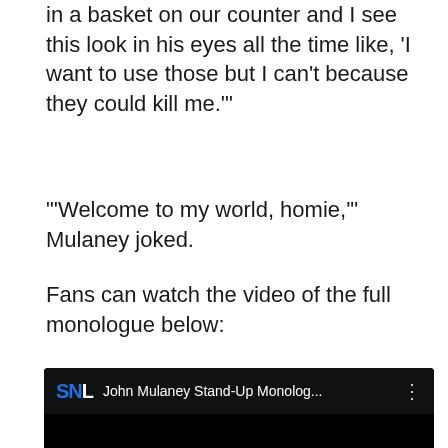in a basket on our counter and I see this look in his eyes all the time like, 'I want to use those but I can't because they could kill me.'
"'Welcome to my world, homie,'" Mulaney joked.
Fans can watch the video of the full monologue below:
[Figure (screenshot): YouTube video embed showing SNL video titled 'John Mulaney Stand-Up Monolog...' with SNL logo and three-dot menu icon on a black background]